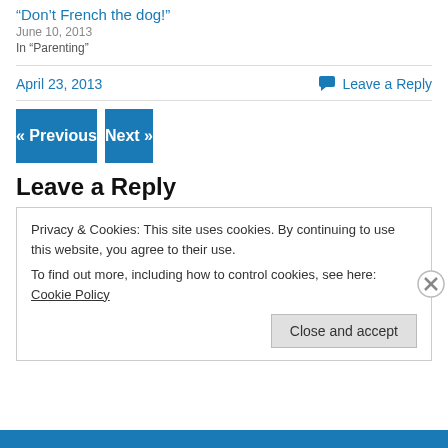“Don’t French the dog!”
June 10, 2013
In “Parenting”
April 23, 2013
Leave a Reply
« Previous
Next »
Leave a Reply
Privacy & Cookies: This site uses cookies. By continuing to use this website, you agree to their use.
To find out more, including how to control cookies, see here: Cookie Policy
Close and accept